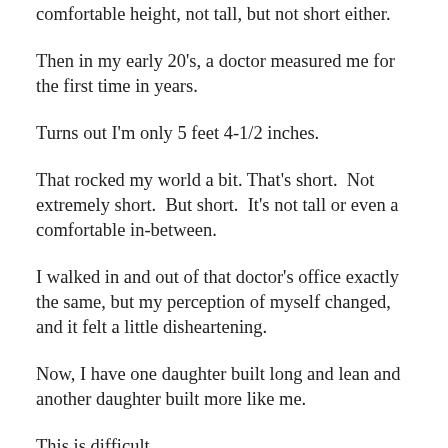comfortable height, not tall, but not short either.
Then in my early 20's, a doctor measured me for the first time in years.
Turns out I'm only 5 feet 4-1/2 inches.
That rocked my world a bit. That's short.  Not extremely short.  But short.  It's not tall or even a comfortable in-between.
I walked in and out of that doctor's office exactly the same, but my perception of myself changed, and it felt a little disheartening.
Now, I have one daughter built long and lean and another daughter built more like me.
This is difficult.